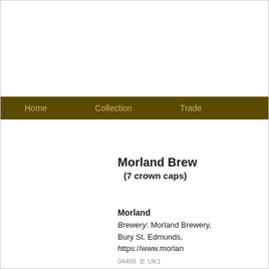Home  Collection  Trade
Morland Brew (7 crown caps)
Morland
Brewery: Morland Brewery, Bury St. Edmunds, https://www.morlan
04488  B: UK1